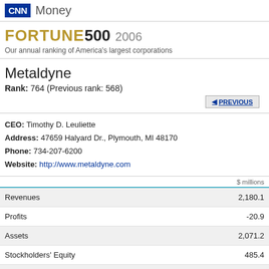CNN Money
FORTUNE 500 2006 Our annual ranking of America's largest corporations
Metaldyne
Rank: 764 (Previous rank: 568)
CEO: Timothy D. Leuliette
Address: 47659 Halyard Dr., Plymouth, MI 48170
Phone: 734-207-6200
Website: http://www.metaldyne.com
|  | $ millions |
| --- | --- |
| Revenues | 2,180.1 |
| Profits | -20.9 |
| Assets | 2,071.2 |
| Stockholders' Equity | 485.4 |
| Market Value 3/17/2006 | — |
| Profits as % of | Earnings per share |
| --- | --- |
| Revenues | -1.0 | 2005 $ |